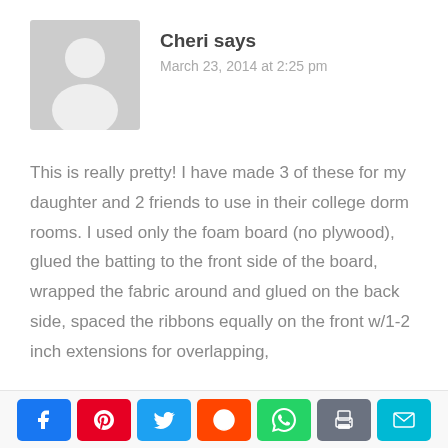[Figure (illustration): Gray avatar placeholder icon showing a person silhouette]
Cheri says
March 23, 2014 at 2:25 pm
This is really pretty! I have made 3 of these for my daughter and 2 friends to use in their college dorm rooms. I used only the foam board (no plywood), glued the batting to the front side of the board, wrapped the fabric around and glued on the back side, spaced the ribbons equally on the front w/1-2 inch extensions for overlapping,
[Figure (infographic): Social share buttons: Facebook, Pinterest, Twitter, Reddit, WhatsApp, Print, Email]